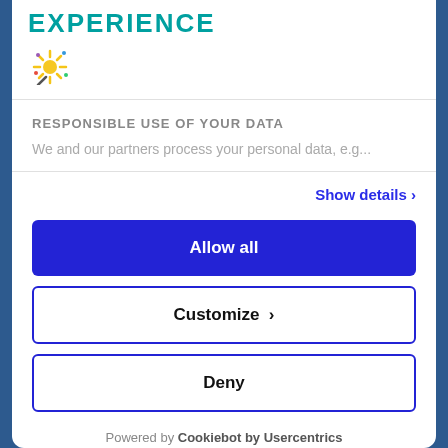EXPERIENCE
[Figure (logo): Colorful starburst/sparkle logo icon]
RESPONSIBLE USE OF YOUR DATA
We and our partners process your personal data, e.g...
Show details >
Allow all
Customize >
Deny
Powered by Cookiebot by Usercentrics